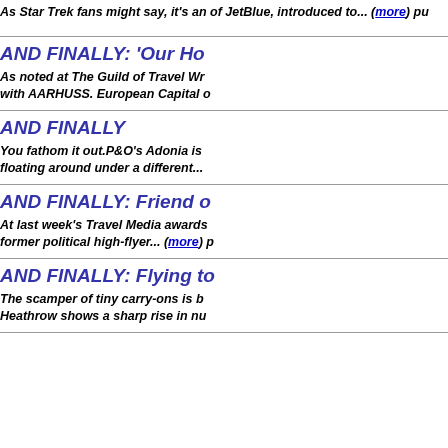As Star Trek fans might say, it's an... of JetBlue, introduced to... (more) pu
AND FINALLY: 'Our Ho...
As noted at The Guild of Travel Wr... with AARHUSS. European Capital o...
AND FINALLY
You fathom it out.P&O's Adonia is ... floating around under a different...
AND FINALLY: Friend o...
At last week's Travel Media awards... former political high-flyer... (more) p
AND FINALLY: Flying to...
The scamper of tiny carry-ons is b... Heathrow shows a sharp rise in nu...